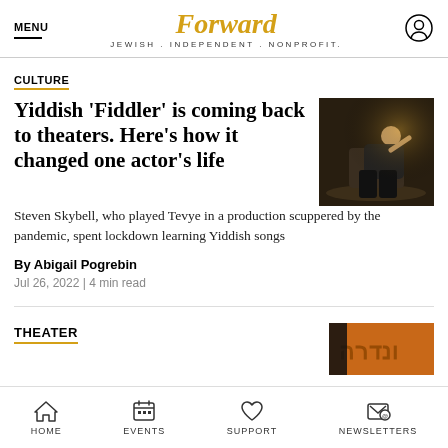Forward — JEWISH. INDEPENDENT. NONPROFIT.
CULTURE
Yiddish 'Fiddler' is coming back to theaters. Here's how it changed one actor's life
[Figure (photo): Photo of an actor on stage, appearing to be in a theatrical production, sitting in a dramatic pose with stage lighting]
Steven Skybell, who played Tevye in a production scuppered by the pandemic, spent lockdown learning Yiddish songs
By Abigail Pogrebin
Jul 26, 2022 | 4 min read
THEATER
[Figure (photo): Partial theater image with Hebrew/Yiddish text visible, orange/amber toned]
HOME  EVENTS  SUPPORT  NEWSLETTERS